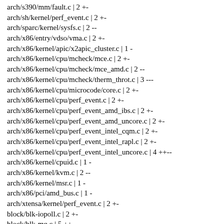arch/s390/mm/fault.c | 2 +-
arch/sh/kernel/perf_event.c | 2 +-
arch/sparc/kernel/sysfs.c | 2 --
arch/x86/entry/vdso/vma.c | 2 +-
arch/x86/kernel/apic/x2apic_cluster.c | 1 -
arch/x86/kernel/cpu/mcheck/mce.c | 2 +-
arch/x86/kernel/cpu/mcheck/mce_amd.c | 2 --
arch/x86/kernel/cpu/mcheck/therm_throt.c | 3 ---
arch/x86/kernel/cpu/microcode/core.c | 2 +-
arch/x86/kernel/cpu/perf_event.c | 2 +-
arch/x86/kernel/cpu/perf_event_amd_ibs.c | 2 +-
arch/x86/kernel/cpu/perf_event_amd_uncore.c | 2 +-
arch/x86/kernel/cpu/perf_event_intel_cqm.c | 2 +-
arch/x86/kernel/cpu/perf_event_intel_rapl.c | 2 +-
arch/x86/kernel/cpu/perf_event_intel_uncore.c | 4 ++--
arch/x86/kernel/cpuid.c | 1 -
arch/x86/kernel/kvm.c | 2 --
arch/x86/kernel/msr.c | 1 -
arch/x86/pci/amd_bus.c | 1 -
arch/xtensa/kernel/perf_event.c | 2 +-
block/blk-iopoll.c | 2 +-
block/blk-mq.c | 5 ++---
block/blk-softirq.c | 2 +-
drivers/acpi/processor_driver.c | 1 -
drivers/base/cacheinfo.c | 2 +-
drivers/base/topology.c | 2 -